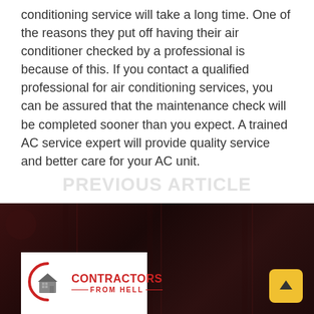conditioning service will take a long time. One of the reasons they put off having their air conditioner checked by a professional is because of this. If you contact a qualified professional for air conditioning services, you can be assured that the maintenance check will be completed sooner than you expect. A trained AC service expert will provide quality service and better care for your AC unit.
[Figure (photo): Dark reddish-brown background photo, possibly showing a dimly lit interior. A logo box is overlaid at the bottom left showing 'Contractors From Hell' branding with a house/building icon inside a circular arc. A yellow scroll-to-top button appears at bottom right.]